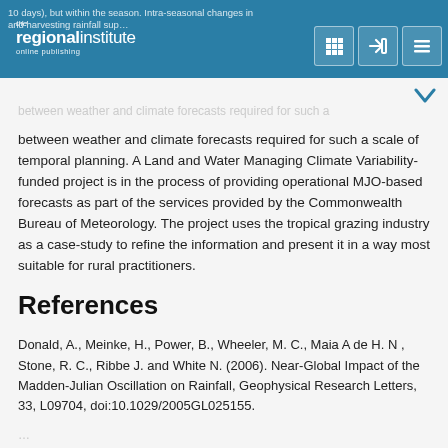10 days), but within the season. Intra-seasonal changes in … and harvesting rainfall sup…
between weather and climate forecasts required for such a scale of temporal planning. A Land and Water Managing Climate Variability-funded project is in the process of providing operational MJO-based forecasts as part of the services provided by the Commonwealth Bureau of Meteorology. The project uses the tropical grazing industry as a case-study to refine the information and present it in a way most suitable for rural practitioners.
References
Donald, A., Meinke, H., Power, B., Wheeler, M. C., Maia A de H. N , Stone, R. C., Ribbe J. and White N. (2006). Near-Global Impact of the Madden-Julian Oscillation on Rainfall, Geophysical Research Letters, 33, L09704, doi:10.1029/2005GL025155.